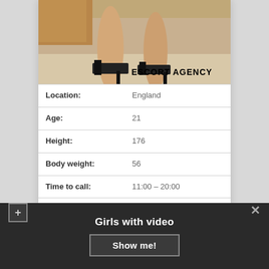[Figure (photo): Photo of legs in black high heel platform shoes with escort agency watermark text]
| Location: | England |
| Age: | 21 |
| Height: | 176 |
| Body weight: | 56 |
| Time to call: | 11:00 – 20:00 |
| For family couples: | Extra 50 dollars |
| Escort | Pole Dancing, Uniforms, |
Girls with video
Show me!